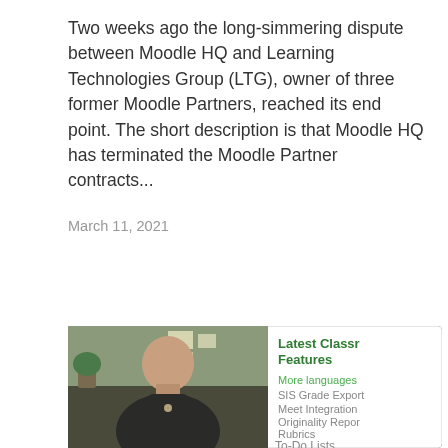Two weeks ago the long-simmering dispute between Moodle HQ and Learning Technologies Group (LTG), owner of three former Moodle Partners, reached its end point. The short description is that Moodle HQ has terminated the Moodle Partner contracts...
March 11, 2021
[Figure (photo): Screenshot of a webpage card showing a woman in a dark turtleneck seated in an office/classroom setting, alongside text promoting 'Latest Classroom Features' including More languages, SIS Grade Export, Meet Integration, Originality Report, Rubrics, To-Do Lists]